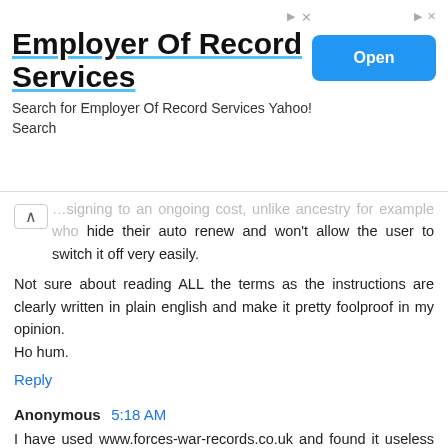[Figure (screenshot): Advertisement banner for 'Employer Of Record Services' with an Open button]
...signing to an ongoing cost, unlike ancestry for example who hide their auto renew and won't allow the user to switch it off very easily.
Not sure about reading ALL the terms as the instructions are clearly written in plain english and make it pretty foolproof in my opinion.
Ho hum.
Reply
Anonymous 5:18 AM
I have used www.forces-war-records.co.uk and found it useless they say its a free search but show you nothing and you have to pay to make sure the name you are looking at is the one you are after. you may then find the name you are looking for is not even on the site once you